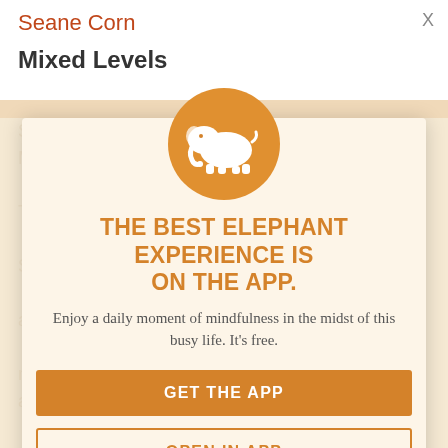Seane Corn
Mixed Levels
[Figure (illustration): Modal popup overlay with orange elephant logo circle, headline 'THE BEST ELEPHANT EXPERIENCE IS ON THE APP.', subtext, and two buttons 'GET THE APP' and 'OPEN IN APP']
THE BEST ELEPHANT EXPERIENCE IS ON THE APP.
Enjoy a daily moment of mindfulness in the midst of this busy life. It's free.
GET THE APP
OPEN IN APP